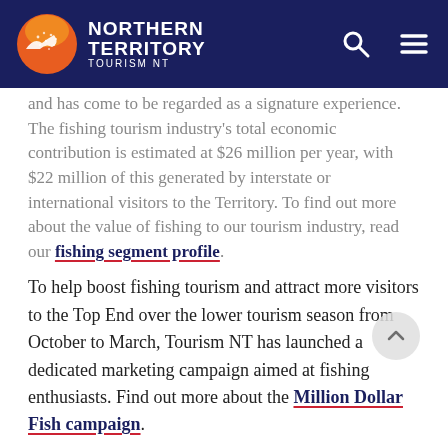Northern Territory Tourism NT
and has come to be regarded as a signature experience. The fishing tourism industry's total economic contribution is estimated at $26 million per year, with $22 million of this generated by interstate or international visitors to the Territory. To find out more about the value of fishing to our tourism industry, read our fishing segment profile.
To help boost fishing tourism and attract more visitors to the Top End over the lower tourism season from October to March, Tourism NT has launched a dedicated marketing campaign aimed at fishing enthusiasts. Find out more about the Million Dollar Fish campaign.